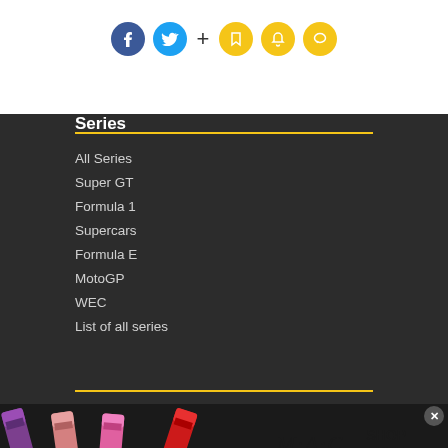[Figure (infographic): Social media icons: Facebook (blue circle), Twitter (cyan circle), plus sign, and three yellow circle icons (bookmark, bell, chat)]
Series
All Series
Super GT
Formula 1
Supercars
Formula E
MotoGP
WEC
List of all series
[Figure (photo): MAC cosmetics advertisement banner showing colorful lipsticks on the left, MAC logo in center, and a SHOP NOW button on the right]